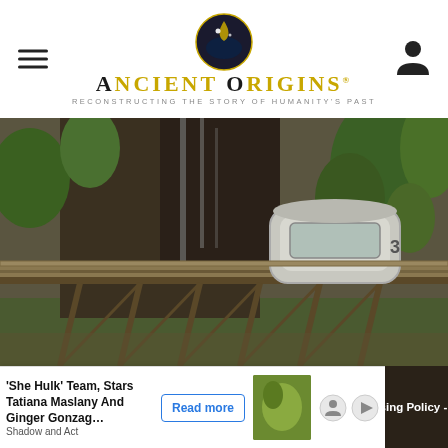Ancient Origins — Reconstructing the Story of Humanity's Past
[Figure (photo): A funicular or cable car vehicle on steep metal trestle tracks set against a lush green cliff face with dense vegetation and rocky terrain]
Ancient Origins © 2013 - 2022
Disclaimer - Terms of Publication - Privacy Policy & Cookies - Advertising Policy - Submissions - We Give Back - Contact us
'She Hulk' Team, Stars Tatiana Maslany And Ginger Gonzag… Read more Shadow and Act